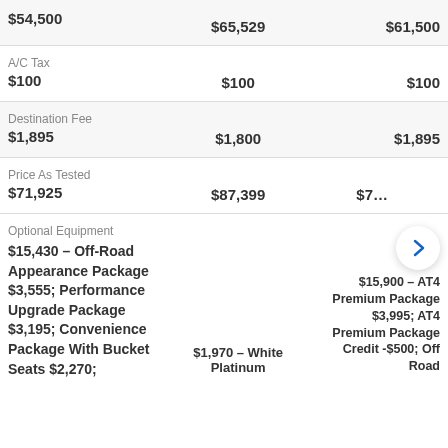|  | Col2 | Col3 |
| --- | --- | --- |
| $54,500 | $65,529 | $61,500 |
| A/C Tax
$100 | $100 | $100 |
| Destination Fee
$1,895 | $1,800 | $1,895 |
| Price As Tested
$71,925 | $87,399 | $7… |
| Optional Equipment
$15,430 – Off-Road Appearance Package $3,555; Performance Upgrade Package $3,195; Convenience Package With Bucket Seats $2,270; | $1,970 – White Platinum… | $15,900 – AT4 Premium Package $3,995; AT4 Premium Package Credit -$500; Off Road… |